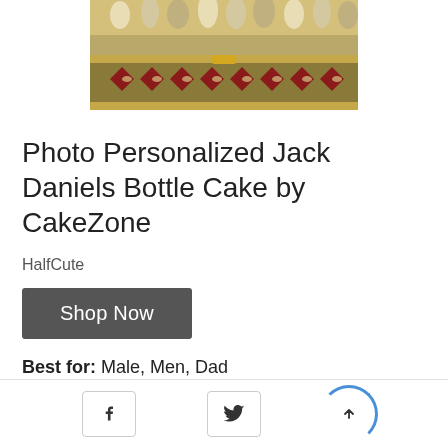[Figure (photo): Photo of a decorative chess box with ornate gold, red, and cream patterned inlay design, viewed from the side/top, partially cropped at the top of the page.]
Photo Personalized Jack Daniels Bottle Cake by CakeZone
HalfCute
Shop Now
Best for: Male, Men, Dad
Facebook share, Twitter share, Scroll to top